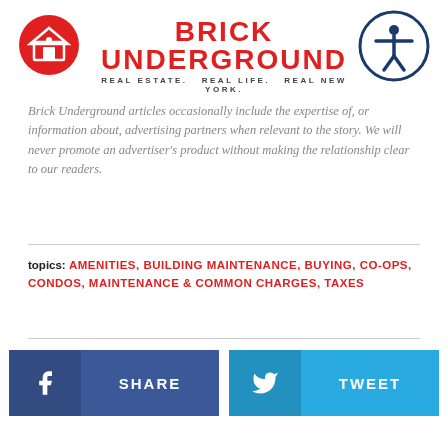BRICK UNDERGROUND — REAL ESTATE. REAL LIFE. REAL NEW YORK.
Brick Underground articles occasionally include the expertise of, or information about, advertising partners when relevant to the story. We will never promote an advertiser's product without making the relationship clear to our readers.
topics: AMENITIES, BUILDING MAINTENANCE, BUYING, CO-OPS, CONDOS, MAINTENANCE & COMMON CHARGES, TAXES
[Figure (other): Facebook Share button and Twitter Tweet button for social sharing]